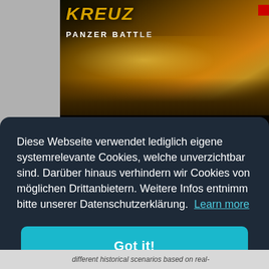[Figure (screenshot): YouTube video thumbnail showing a tank battle game titled 'PANZERBATTLE' with golden explosion background and a 'Watch on YouTube' bar at the bottom]
Diese Webseite verwendet lediglich eigene systemrelevante Cookies, welche unverzichtbar sind. Darüber hinaus verhindern wir Cookies von möglichen Drittanbietern. Weitere Infos entnimm bitte unserer Datenschutzerklärung. Learn more
Got it!
different historical scenarios based on real-